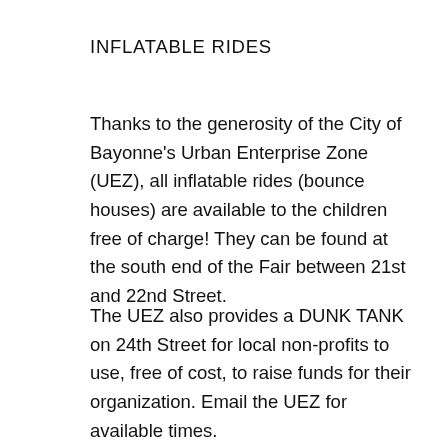INFLATABLE RIDES
Thanks to the generosity of the City of Bayonne's Urban Enterprise Zone (UEZ), all inflatable rides (bounce houses) are available to the children free of charge! They can be found at the south end of the Fair between 21st and 22nd Street.
The UEZ also provides a DUNK TANK on 24th Street for local non-profits to use, free of cost, to raise funds for their organization. Email the UEZ for available times.